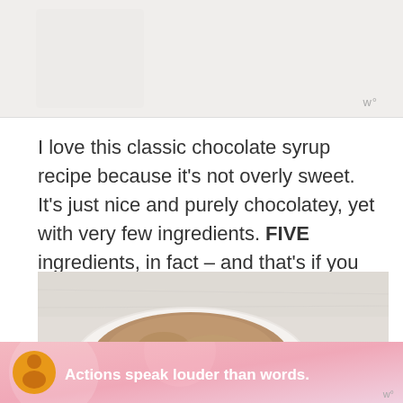[Figure (photo): Light grey/beige background area representing the top of a webpage with a watermark logo in the bottom right corner]
I love this classic chocolate syrup recipe because it's not overly sweet. It's just nice and purely chocolatey, yet with very few ingredients. FIVE ingredients, in fact – and that's if you count the water!
[Figure (photo): Top-down photo of a white bowl filled with cocoa powder on a light marble or stone surface]
[Figure (screenshot): Advertisement banner with pink/rose background showing a person in a yellow shirt and the text 'Actions speak louder than words.' with close buttons and a watermark logo]